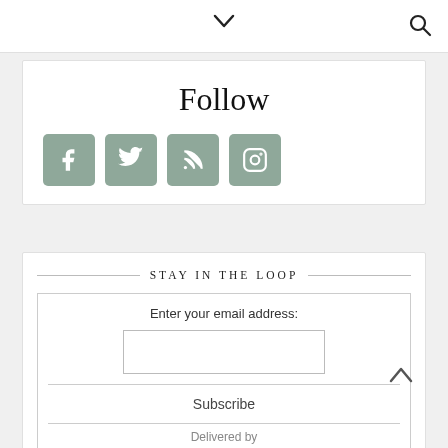▾  🔍
Follow
[Figure (infographic): Four social media icon buttons (Facebook, Twitter, RSS, Instagram) in muted green-grey rounded square backgrounds]
STAY IN THE LOOP
Enter your email address:
Subscribe
Delivered by